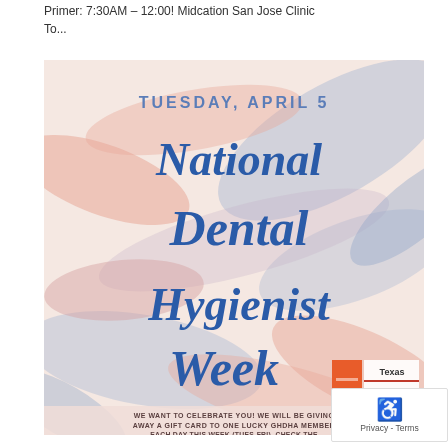Primer: 7:30AM - 12:00! Midcation San Jose Clinic To...
[Figure (illustration): National Dental Hygienist Week promotional image. Tuesday, April 5. Script text reads 'National Dental Hygienist Week'. Background has pink and blue brush strokes. Texas Dental Hygienist Association logo in bottom right. Text at bottom: WE WANT TO CELEBRATE YOU! WE WILL BE GIVING AWAY A GIFT CARD TO ONE LUCKY GHDHA MEMBER EACH DAY THIS WEEK (TUES-FRI). CHECK THE COMMENT SECTION TO SEE IF YOU'RE THE WINNER!]